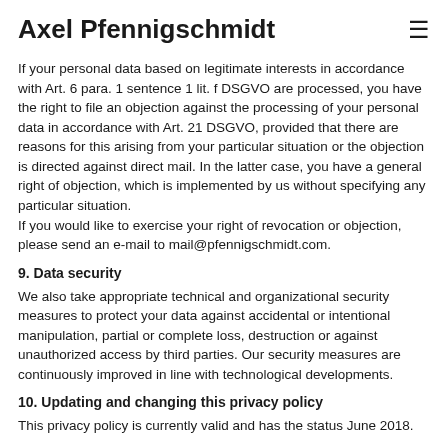Axel Pfennigschmidt
If your personal data based on legitimate interests in accordance with Art. 6 para. 1 sentence 1 lit. f DSGVO are processed, you have the right to file an objection against the processing of your personal data in accordance with Art. 21 DSGVO, provided that there are reasons for this arising from your particular situation or the objection is directed against direct mail. In the latter case, you have a general right of objection, which is implemented by us without specifying any particular situation.
If you would like to exercise your right of revocation or objection, please send an e-mail to mail@pfennigschmidt.com.
9. Data security
We also take appropriate technical and organizational security measures to protect your data against accidental or intentional manipulation, partial or complete loss, destruction or against unauthorized access by third parties. Our security measures are continuously improved in line with technological developments.
10. Updating and changing this privacy policy
This privacy policy is currently valid and has the status June 2018.